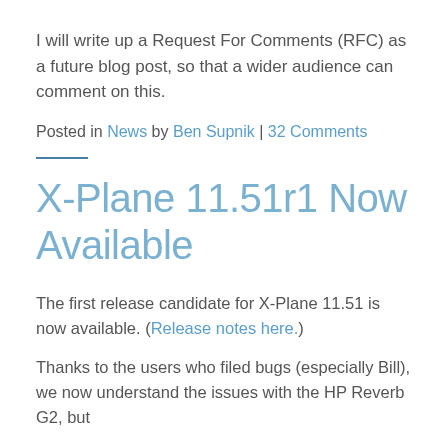I will write up a Request For Comments (RFC) as a future blog post, so that a wider audience can comment on this.
Posted in News by Ben Supnik | 32 Comments
X-Plane 11.51r1 Now Available
The first release candidate for X-Plane 11.51 is now available. (Release notes here.)
Thanks to the users who filed bugs (especially Bill), we now understand the issues with the HP Reverb G2, but